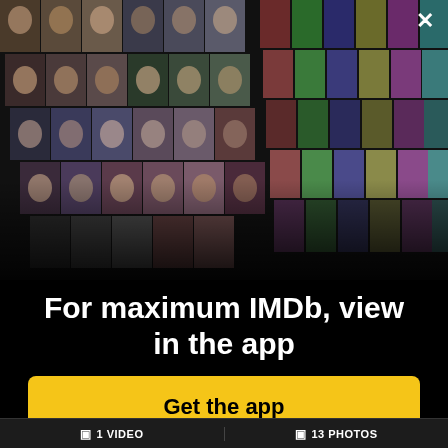[Figure (photo): Mosaic collage of celebrity photos and movie posters arranged in a perspective grid, IMDb promotional image]
For maximum IMDb, view in the app
Get the app
1 VIDEO
13 PHOTOS
[Figure (photo): Small movie poster thumbnail for 'Tomboy' with a + badge]
Drama